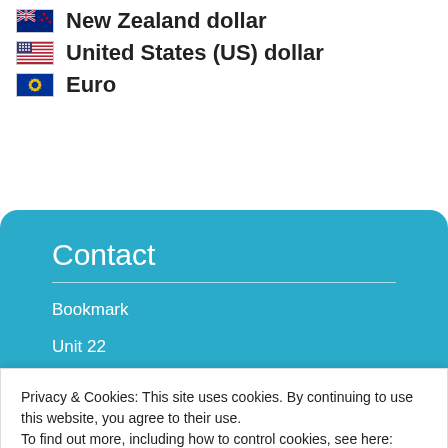New Zealand dollar
United States (US) dollar
Euro
Contact
Bookmark
Unit 22
Avondale Business Centre
bookmark29@virginmedia.com
or click here.
Privacy & Cookies: This site uses cookies. By continuing to use this website, you agree to their use.
To find out more, including how to control cookies, see here: Cookie Policy